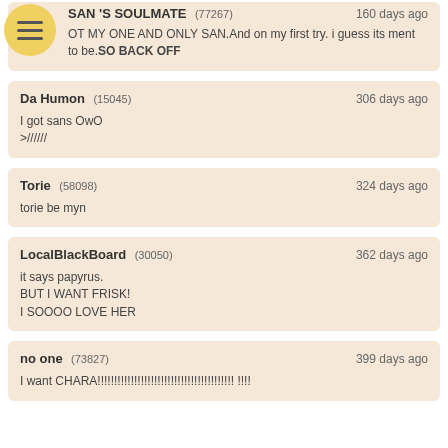SAN 'S SOULMATE (77267) — 160 days ago
...OT MY ONE AND ONLY SAN.And on my first try. i guess its ment to be.SO BACK OFF
Da Humon (15045) — 306 days ago
I got sans OwO
>//////
Torie (58098) — 324 days ago
torie be myn
LocalBlackBoard (30050) — 362 days ago
it says papyrus.
BUT I WANT FRISK!
I SOOOO LOVE HER
no one (73827) — 399 days ago
I want CHARA!!!!!!!!!!!!!!!!!!!!!!!!!!!!!!!!!!!!!!!!! !!!!